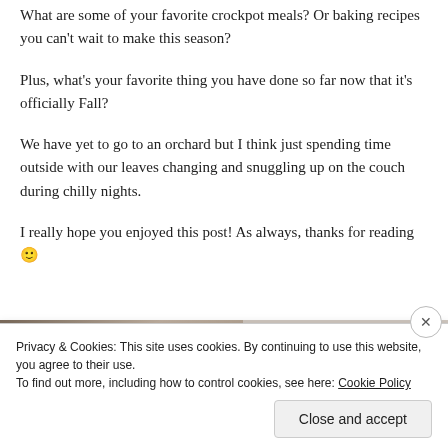What are some of your favorite crockpot meals? Or baking recipes you can't wait to make this season?
Plus, what's your favorite thing you have done so far now that it's officially Fall?
We have yet to go to an orchard but I think just spending time outside with our leaves changing and snuggling up on the couch during chilly nights.
I really hope you enjoyed this post! As always, thanks for reading 🙂
[Figure (photo): Partial image of a person and interior scene, cropped at bottom of page]
Privacy & Cookies: This site uses cookies. By continuing to use this website, you agree to their use.
To find out more, including how to control cookies, see here: Cookie Policy
Close and accept